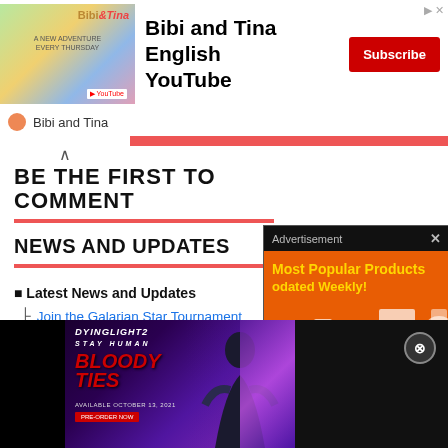[Figure (screenshot): Bibi and Tina English YouTube channel advertisement banner with Subscribe button]
Bibi and Tina
BE THE FIRST TO COMMENT
NEWS AND UPDATES
■ Latest News and Updates
Join the Galarian Star Tournament (June 17, 2020)
Legendary Max Raid Battles Teased (June 17, 2020)
[Figure (screenshot): Advertisement overlay: Most Popular Products Updated Weekly! on orange background with shopping icons]
[Figure (screenshot): Dying Light 2 Stay Human: Bloody Ties DLC advertisement on dark background]